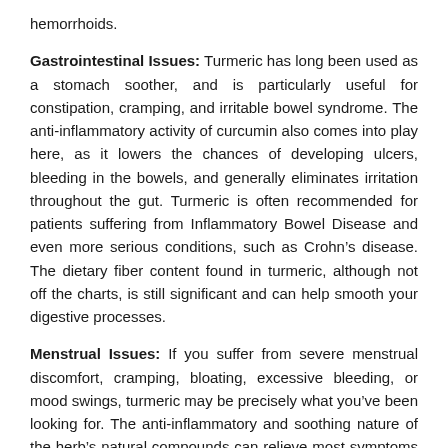hemorrhoids.
Gastrointestinal Issues: Turmeric has long been used as a stomach soother, and is particularly useful for constipation, cramping, and irritable bowel syndrome. The anti-inflammatory activity of curcumin also comes into play here, as it lowers the chances of developing ulcers, bleeding in the bowels, and generally eliminates irritation throughout the gut. Turmeric is often recommended for patients suffering from Inflammatory Bowel Disease and even more serious conditions, such as Crohn’s disease. The dietary fiber content found in turmeric, although not off the charts, is still significant and can help smooth your digestive processes.
Menstrual Issues: If you suffer from severe menstrual discomfort, cramping, bloating, excessive bleeding, or mood swings, turmeric may be precisely what you’ve been looking for. The anti-inflammatory and soothing nature of the herb’s natural compounds can relieve most symptoms of menstruation.